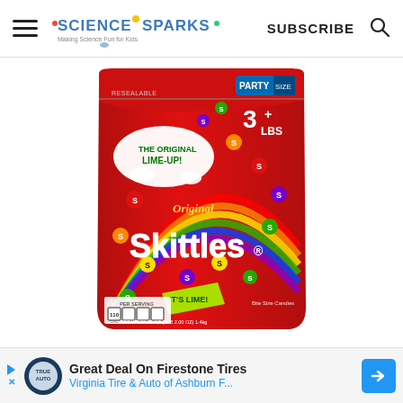Science Sparks – Making Science Fun for Kids | SUBSCRIBE
[Figure (photo): Skittles Original party-size bag (3+ lbs), red bag with rainbow and colorful Skittles candies, 'The Original Lime-Up!' and 'IT'S LIME!' text, NET WT 50.96 OZ]
[Figure (infographic): Advertisement banner: Great Deal On Firestone Tires – Virginia Tire & Auto of Ashburn F... with Firestone/auto logo and blue arrow icon]